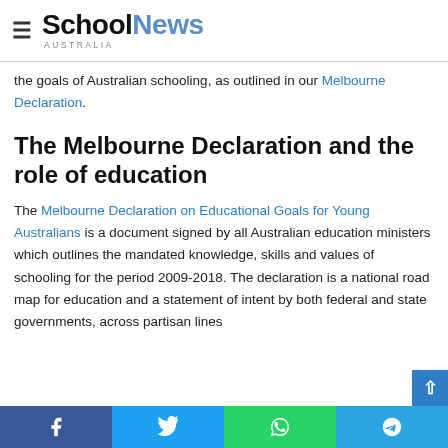School News Australia
the goals of Australian schooling, as outlined in our Melbourne Declaration.
The Melbourne Declaration and the role of education
The Melbourne Declaration on Educational Goals for Young Australians is a document signed by all Australian education ministers which outlines the mandated knowledge, skills and values of schooling for the period 2009-2018. The declaration is a national road map for education and a statement of intent by both federal and state governments, across partisan lines.
Facebook Twitter WhatsApp Telegram